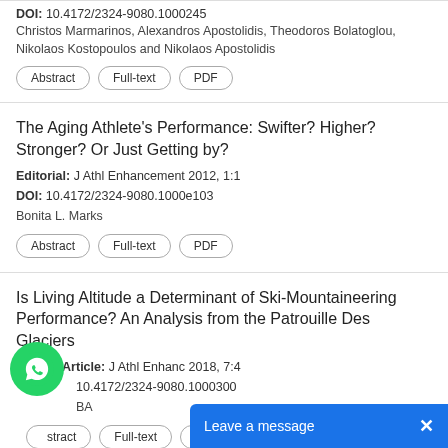DOI: 10.4172/2324-9080.1000245
Christos Marmarinos, Alexandros Apostolidis, Theodoros Bolatoglou, Nikolaos Kostopoulos and Nikolaos Apostolidis
Abstract | Full-text | PDF
The Aging Athlete's Performance: Swifter? Higher? Stronger? Or Just Getting by?
Editorial: J Athl Enhancement 2012, 1:1
DOI: 10.4172/2324-9080.1000e103
Bonita L. Marks
Abstract | Full-text | PDF
Is Living Altitude a Determinant of Ski-Mountaineering Performance? An Analysis from the Patrouille Des Glaciers
Review Article: J Athl Enhanc 2018, 7:4
DOI: 10.4172/2324-9080.1000300
...BA
Abstract | Full-text | PDF